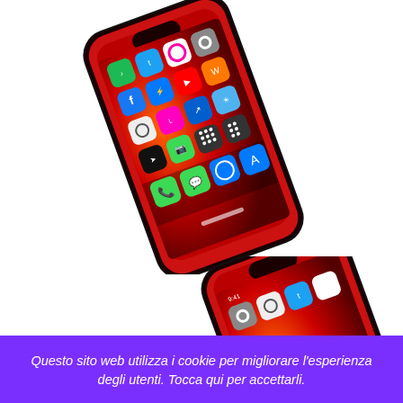[Figure (photo): A red iPhone XR photographed at an angle showing the home screen with various colorful app icons including Twitter, Facebook, YouTube, Spotify, FaceTime, Messages, and others on a vivid red wallpaper. The phone is tilted diagonally on a white background.]
[Figure (photo): A partially visible red iPhone XR photographed from below/behind, showing the top portion of the device with the camera area and some app icons visible. The phone is tilted on a white background.]
Questo sito web utilizza i cookie per migliorare l'esperienza degli utenti. Tocca qui per accettarli.